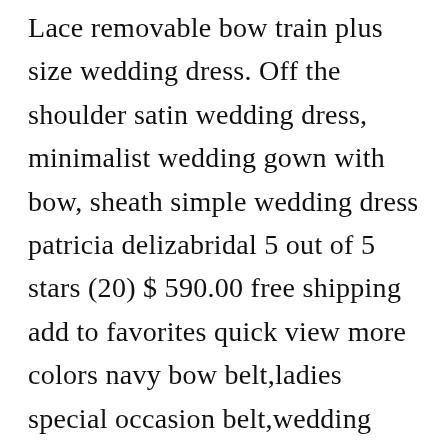Lace removable bow train plus size wedding dress. Off the shoulder satin wedding dress, minimalist wedding gown with bow, sheath simple wedding dress patricia delizabridal 5 out of 5 stars (20) $ 590.00 free shipping add to favorites quick view more colors navy bow belt,ladies special occasion belt,wedding dress belt,formal occasion bow belt,after five, sorority, prom. As the following garments will attest, bows can be fun or romantic, but they�re always beautiful.